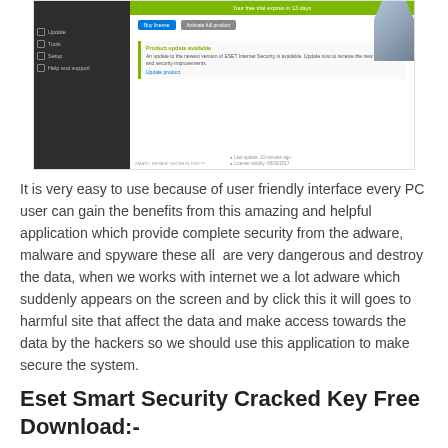[Figure (screenshot): Screenshot of ESET Internet Security application interface showing sidebar menu with Update, Tools, Setup, Help and support options, a green trial expiry banner, Buy license and Activate full product buttons, a robot mascot, a product update available notification with update product link, and footer showing last update and license expiry.]
It is very easy to use because of user friendly interface every PC user can gain the benefits from this amazing and helpful application which provide complete security from the adware, malware and spyware these all  are very dangerous and destroy the data, when we works with internet we a lot adware which suddenly appears on the screen and by click this it will goes to harmful site that affect the data and make access towards the data by the hackers so we should use this application to make secure the system.
Eset Smart Security Cracked Key Free Download:-